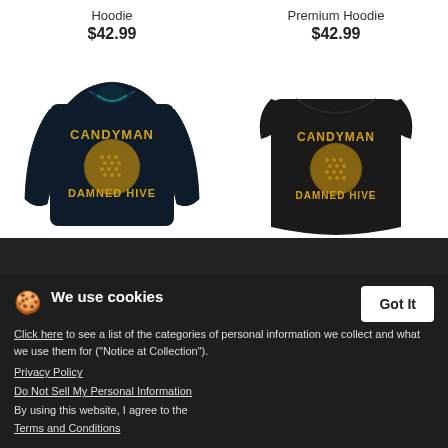Hoodie
$42.99
Premium Hoodie
$42.99
[Figure (photo): Dark navy long sleeve t-shirt with Candyman Damned Hive design in gold/yellow]
[Figure (photo): Black women's rolled cuff t-shirt with Candyman Damned Hive design in gold/yellow]
Candyman is the Whole Damned Hive - Men's Premium Long Sleeve T-Shirt
Candyman is the Whole Damned Hive - Women's Rolled Cuff T-Shirt
We use cookies
Click here to see a list of the categories of personal information we collect and what we use them for ("Notice at Collection").
Privacy Policy
Do Not Sell My Personal Information
By using this website, I agree to the Terms and Conditions